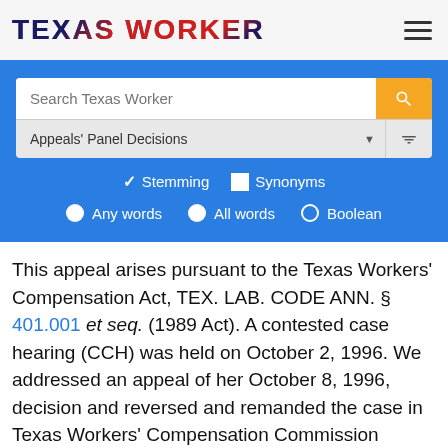TEXAS WORKER
[Figure (screenshot): Texas Worker website search interface with search bar, Appeals Panel Decisions dropdown, Stemming/Synonyms checkboxes, and Any words/All words/Boolean radio buttons on a blue background]
This appeal arises pursuant to the Texas Workers' Compensation Act, TEX. LAB. CODE ANN. § 401.001 et seq. (1989 Act). A contested case hearing (CCH) was held on October 2, 1996. We addressed an appeal of her October 8, 1996, decision and reversed and remanded the case in Texas Workers' Compensation Commission Appeal No. 962207, decided December 16, 1996. The hearing officer issued her